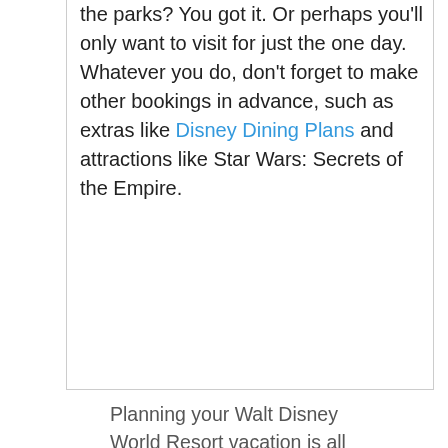the parks? You got it. Or perhaps you'll only want to visit for just the one day. Whatever you do, don't forget to make other bookings in advance, such as extras like Disney Dining Plans and attractions like Star Wars: Secrets of the Empire.
Planning your Walt Disney World Resort vacation is all part of the fun, so follow these tips to avoid